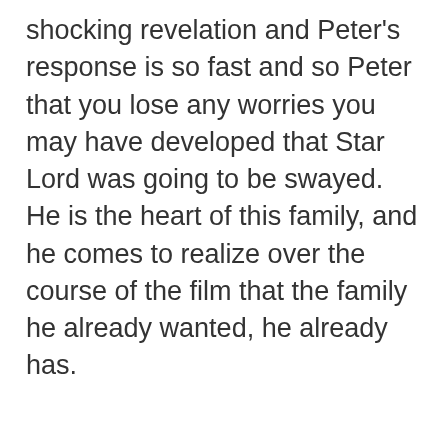shocking revelation and Peter's response is so fast and so Peter that you lose any worries you may have developed that Star Lord was going to be swayed. He is the heart of this family, and he comes to realize over the course of the film that the family he already wanted, he already has.